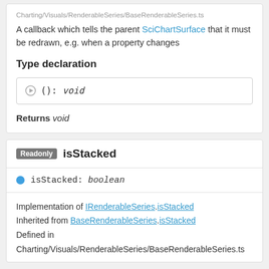Charting/Visuals/RenderableSeries/BaseRenderableSeries.ts
A callback which tells the parent SciChartSurface that it must be redrawn, e.g. when a property changes
Type declaration
▶ (): void
Returns void
Readonly isStacked
isStacked: boolean
Implementation of IRenderableSeries.isStacked
Inherited from BaseRenderableSeries.isStacked
Defined in
Charting/Visuals/RenderableSeries/BaseRenderableSeries.ts